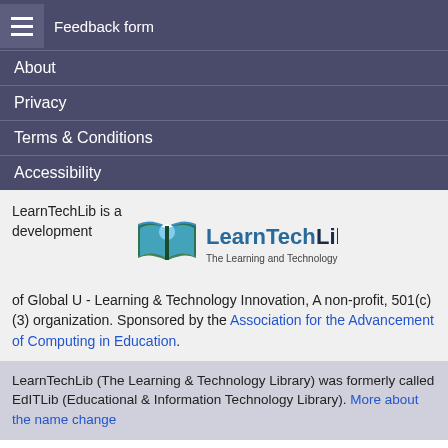Feedback form
About
Privacy
Terms & Conditions
Accessibility
LearnTechLib is a development of Global U - Learning & Technology Innovation, A non-profit, 501(c)(3) organization. Sponsored by the Association for the Advancement of Computing in Education.
[Figure (logo): LearnTechLib logo — The Learning and Technology Library]
LearnTechLib (The Learning & Technology Library) was formerly called EdITLib (Educational & Information Technology Library). More about the name change
Note: documents in Portable Document Format (PDF) require Adobe Acrobat Reader 5.0 or higher to view, download Adobe Acrobat Reader.